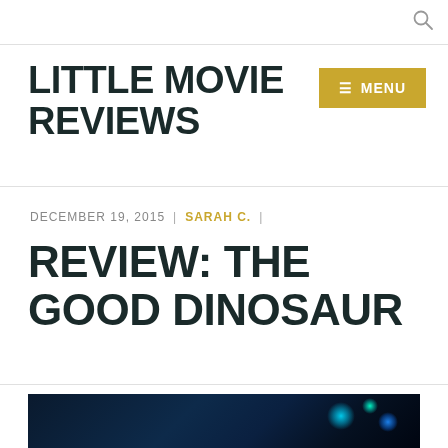LITTLE MOVIE REVIEWS
≡ MENU
DECEMBER 19, 2015 | SARAH C. |
REVIEW: THE GOOD DINOSAUR
[Figure (photo): Dark blue space/galaxy background with bright glowing cyan and blue light orbs]